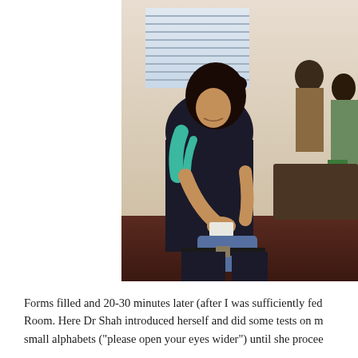[Figure (photo): A woman with dark hair wearing a black top and teal/green backpack sits looking downward, appearing to fill out forms. She is in what appears to be a waiting room. Other people are visible seated in the background near a window with blinds.]
Forms filled and 20-30 minutes later (after I was sufficiently fed Room. Here Dr Shah introduced herself and did some tests on m small alphabets ("please open your eyes wider") until she procee